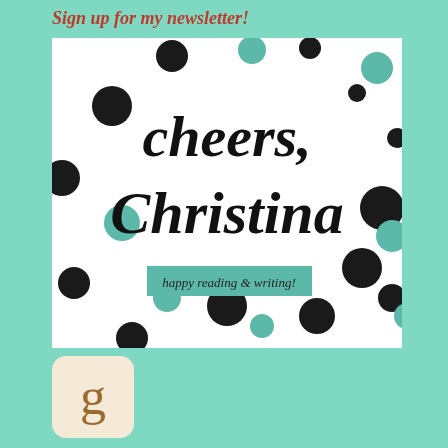Sign up for my newsletter!
[Figure (illustration): White card with black and teal polka dots containing bold italic text 'cheers, Christina' and a teal rectangle with italic text 'happy reading & writing!']
[Figure (logo): Goodreads logo: rounded square with cream/tan background and a lowercase brown 'g']